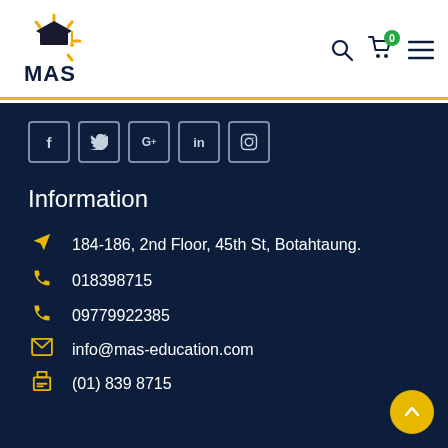[Figure (logo): MAS Education logo with graduation cap and sun rays, text MAS below]
[Figure (infographic): Header navigation icons: search, cart with badge 0, hamburger menu]
[Figure (infographic): Social media icon buttons: f (Facebook), Twitter bird, G+, in (LinkedIn), Instagram]
Information
184-186, 2nd Floor, 45th St, Botahtaung.
018398715
09779922385
info@mas-education.com
(01) 839 8715